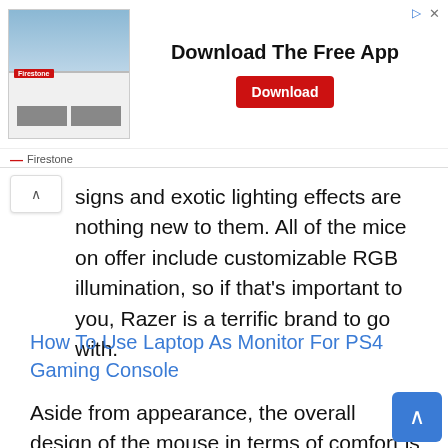[Figure (screenshot): Firestone store advertisement banner with store photo on left, 'Download The Free App' headline in center, red Download button on right, and Firestone logo/name at bottom left with close/ad icons top right]
signs and exotic lighting effects are nothing new to them. All of the mice on offer include customizable RGB illumination, so if that's important to you, Razer is a terrific brand to go with.
How To Use Laptop As Monitor For PS4 Gaming Console
Aside from appearance, the overall design of the mouse in terms of comfort is something to think about. Some mice will have fairly traditional shapes, while others will be ergonomic and built for maximum comfort.